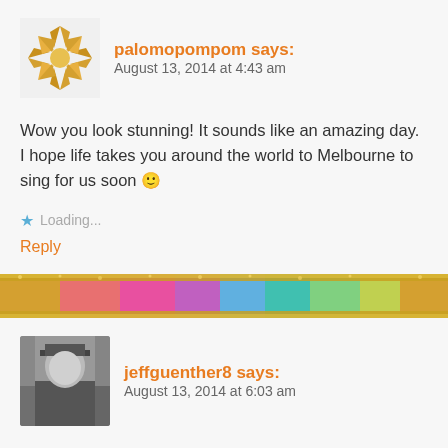[Figure (illustration): Avatar icon for palomopompom — decorative golden star/cross pattern on light background]
palomopompom says:
August 13, 2014 at 4:43 am
Wow you look stunning! It sounds like an amazing day. I hope life takes you around the world to Melbourne to sing for us soon 🙂
Loading...
Reply
[Figure (photo): Colorful glittery banner strip divider — pink, teal, gold glitter edges]
[Figure (photo): Avatar photo for jeffguenther8 — grayscale photo of a person]
jeffguenther8 says:
August 13, 2014 at 6:03 am
You look great. Wow!
Loading...